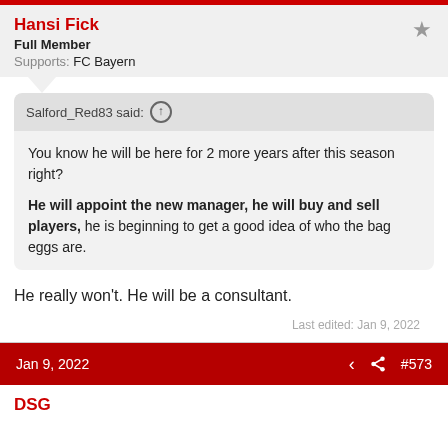Hansi Fick
Full Member
Supports: FC Bayern
Salford_Red83 said: ↑
You know he will be here for 2 more years after this season right?
He will appoint the new manager, he will buy and sell players, he is beginning to get a good idea of who the bag eggs are.
He really won't. He will be a consultant.
Last edited: Jan 9, 2022
Jan 9, 2022  #573
DSG